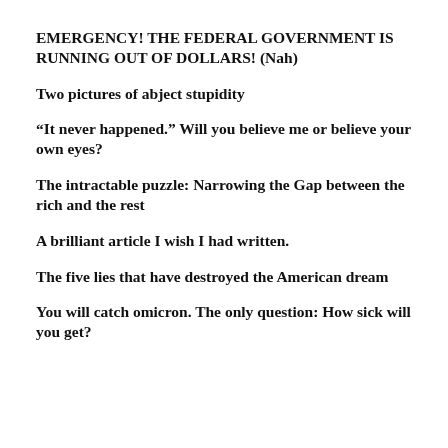EMERGENCY! THE FEDERAL GOVERNMENT IS RUNNING OUT OF DOLLARS! (Nah)
Two pictures of abject stupidity
“It never happened.” Will you believe me or believe your own eyes?
The intractable puzzle: Narrowing the Gap between the rich and the rest
A brilliant article I wish I had written.
The five lies that have destroyed the American dream
You will catch omicron. The only question: How sick will you get?